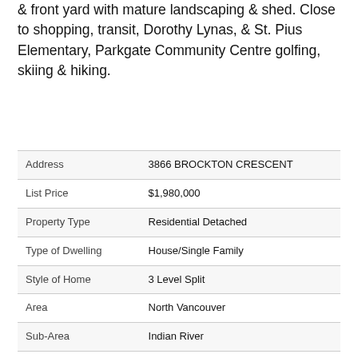& front yard with mature landscaping & shed. Close to shopping, transit, Dorothy Lynas, & St. Pius Elementary, Parkgate Community Centre golfing, skiing & hiking.
| Field | Value |
| --- | --- |
| Address | 3866 BROCKTON CRESCENT |
| List Price | $1,980,000 |
| Property Type | Residential Detached |
| Type of Dwelling | House/Single Family |
| Style of Home | 3 Level Split |
| Area | North Vancouver |
| Sub-Area | Indian River |
| Bedrooms | 4 |
| Bathrooms | 3 |